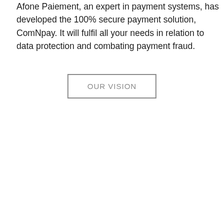Afone Paiement, an expert in payment systems, has developed the 100% secure payment solution, ComNpay. It will fulfil all your needs in relation to data protection and combating payment fraud.
[Figure (other): A rectangular button with gray border and gray text reading 'OUR VISION' in uppercase letters]